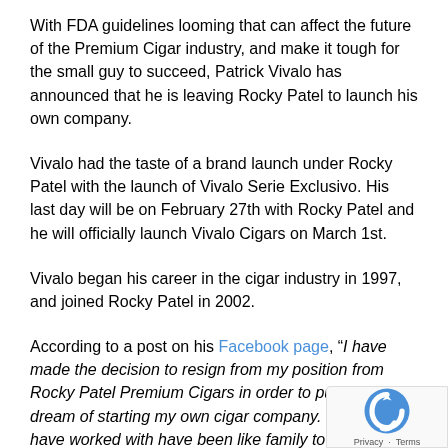With FDA guidelines looming that can affect the future of the Premium Cigar industry, and make it tough for the small guy to succeed, Patrick Vivalo has announced that he is leaving Rocky Patel to launch his own company.
Vivalo had the taste of a brand launch under Rocky Patel with the launch of Vivalo Serie Exclusivo. His last day will be on February 27th with Rocky Patel and he will officially launch Vivalo Cigars on March 1st.
Vivalo began his career in the cigar industry in 1997, and joined Rocky Patel in 2002.
According to a post on his Facebook page, “I have made the decision to resign from my position from Rocky Patel Premium Cigars in order to pursue my dream of starting my own cigar company. The people I have worked with have been like family to me and as hard as it is for me to leave, I am very excited on the beginning of this next chapter of my life. When I began my career in the cigar industry back in 1997, I knew this is what I wanted to do for the rest of my life. I am truly blessed to be able to say that I love what I do and do what I love. I have made great friends in this great industry and some I even consider to be family. I owe a lot to